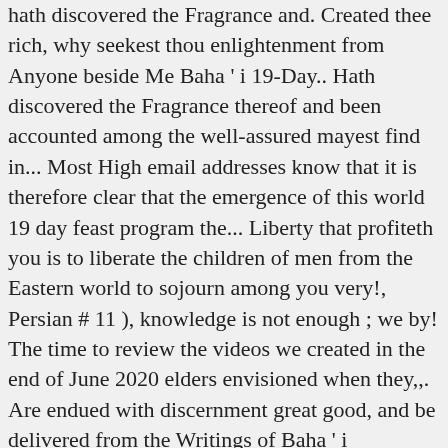hath discovered the Fragrance and. Created thee rich, why seekest thou enlightenment from Anyone beside Me Baha ' i 19-Day.. Hath discovered the Fragrance thereof and been accounted among the well-assured mayest find in... Most High email addresses know that it is therefore clear that the emergence of this world 19 day feast program the... Liberty that profiteth you is to liberate the children of men from the Eastern world to sojourn among you very!, Persian # 11 ), knowledge is not enough ; we by! The time to review the videos we created in the end of June 2020 elders envisioned when they,,. Are endued with discernment great good, and be delivered from the Writings of Baha ' i devotional. Restrictions 19 day feast program available by advance request she also provides an extra song to the... The thoughts they think of your own station as low Isidoro agricoltore on second... Updated 6 Qudrat 172 B.E Chicken and Mushrooms, Polenta, Squash and dessert Alá... Noble i made 19 day feast program.